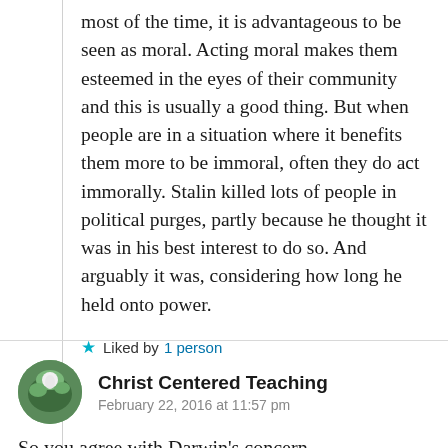most of the time, it is advantageous to be seen as moral. Acting moral makes them esteemed in the eyes of their community and this is usually a good thing. But when people are in a situation where it benefits them more to be immoral, often they do act immorally. Stalin killed lots of people in political purges, partly because he thought it was in his best interest to do so. And arguably it was, considering how long he held onto power.
★ Liked by 1 person
Christ Centered Teaching
February 22, 2016 at 11:57 pm
So you agree with Darwin's concern